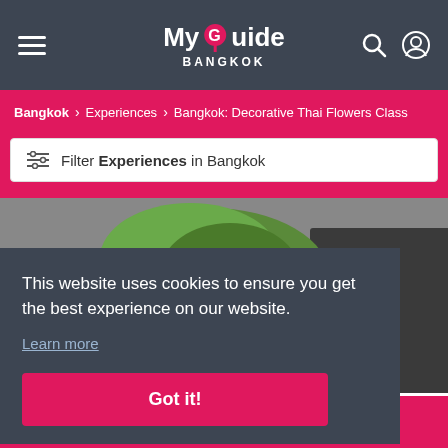MyGuide Bangkok — navigation header with hamburger menu, logo, search and user icons
Bangkok > Experiences > Bangkok: Decorative Thai Flowers Class
Filter Experiences in Bangkok
[Figure (photo): A person holding green plants and pink flowers at a market in Bangkok]
This website uses cookies to ensure you get the best experience on our website.
Learn more
Got it!